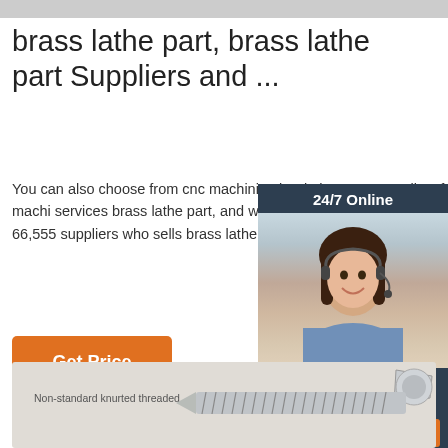brass lathe part, brass lathe part Suppliers and ...
You can also choose from cnc machining brass lathe part, as well as from broaching, other machining services brass lathe part, and whether brass lathe part is aluminum. There are 66,555 suppliers who sells brass lathe part on Alibaba.com, mainly located in Asia.
[Figure (photo): Chat widget showing a customer service agent with headset, '24/7 Online' text, 'Click here for free chat!' text, and an orange QUOTATION button on dark navy background]
[Figure (photo): Product image showing a non-standard knurled threaded brass/metal screw part on grey background with label 'Non-standard knurted threaded']